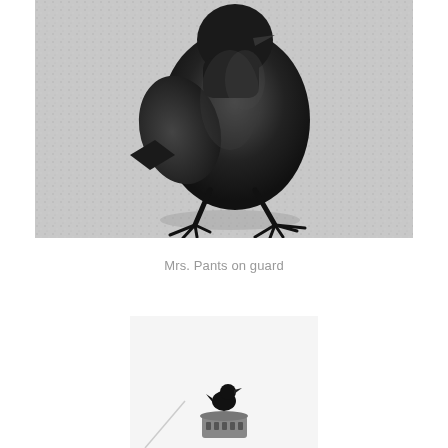[Figure (photo): Close-up black and white photograph of a large black crow or jackdaw standing on a light-colored gravelly ground, facing slightly left, with its feet and claws clearly visible. The bird's body fills most of the frame.]
Mrs. Pants on guard
[Figure (photo): Black and white photograph of a small black bird (crow or jackdaw) perched on top of a round cylindrical vent or chimney cap structure. The bird is silhouetted against a white/light background. A thin diagonal line (possibly a wire or pole) is visible in the lower left.]